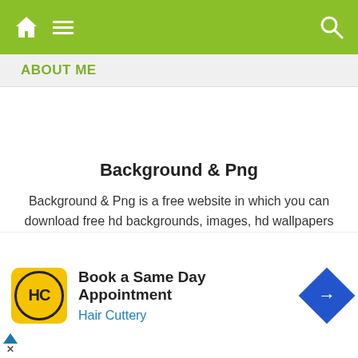Navigation bar with home, menu, and search icons
ABOUT ME
Background & Png
Background & Png is a free website in which you can download free hd backgrounds, images, hd wallpapers & Png for free.
[Figure (screenshot): Advertisement banner: Hair Cuttery - Book a Same Day Appointment]